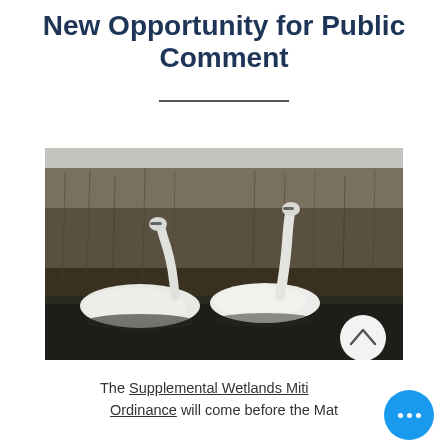New Opportunity for Public Comment
[Figure (photo): Two white swans swimming in dark water with brown reeds/grass in the background, black and white/desaturated photo. A circular scroll-up button is visible in the lower right corner of the image.]
The Supplemental Wetlands Mitigation Ordinance will come before the Mat